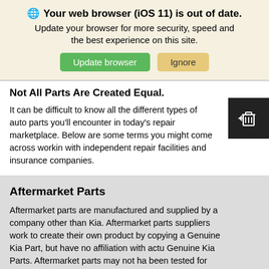🌐 Your web browser (iOS 11) is out of date. Update your browser for more security, speed and the best experience on this site.
Not All Parts Are Created Equal.
It can be difficult to know all the different types of auto parts you'll encounter in today's repair marketplace. Below are some terms you might come across working with independent repair facilities and insurance companies.
Aftermarket Parts
Aftermarket parts are manufactured and supplied by a company other than Kia. Aftermarket parts suppliers work to create their own product by copying a Genuine Kia Part, but have no affiliation with actual Genuine Kia Parts. Aftermarket parts may not have been tested for proper function or were not approved by Kia for use on Kia vehicles. These parts are not covered by any Kia warranties.